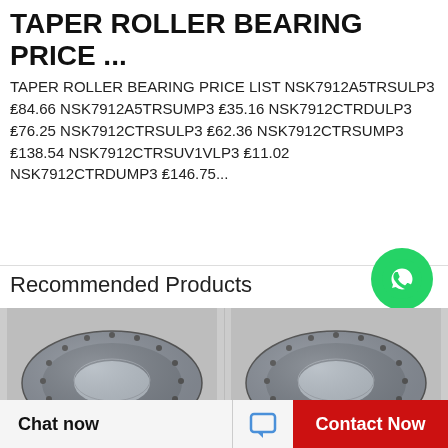TAPER ROLLER BEARING PRICE ...
TAPER ROLLER BEARING PRICE LIST NSK7912A5TRSULP3 ₤84.66 NSK7912A5TRSUMP3 ₤35.16 NSK7912CTRDULP3 ₤76.25 NSK7912CTRSULP3 ₤62.36 NSK7912CTRSUMP3 ₤138.54 NSK7912CTRSUV1VLP3 ₤11.02 NSK7912CTRDUMP3 ₤146.75...
Recommended Products
[Figure (logo): WhatsApp green circle logo with phone icon, labeled WhatsApp Online]
[Figure (photo): Large taper roller bearing ring, metallic grey, viewed from above showing bolt holes around circumference]
[Figure (photo): Large taper roller bearing ring, metallic grey, viewed from above showing bolt holes around circumference - second product]
Chat now
Contact Now